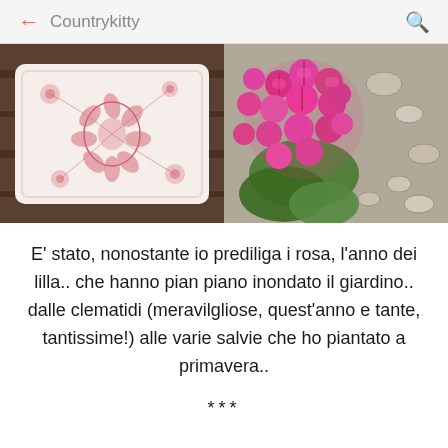← Countrykitty 🔍
[Figure (photo): Two side-by-side photos: left shows a white pillow with pink floral pattern on a wooden surface; right shows bright pink hydrangea flowers with green leaves and pebbles/shells in the background.]
E' stato, nonostante io prediliga i rosa, l'anno dei lilla.. che hanno pian piano inondato il giardino.. dalle clematidi (meravilgliose, quest'anno e tante, tantissime!) alle varie salvie che ho piantato a primavera..
***